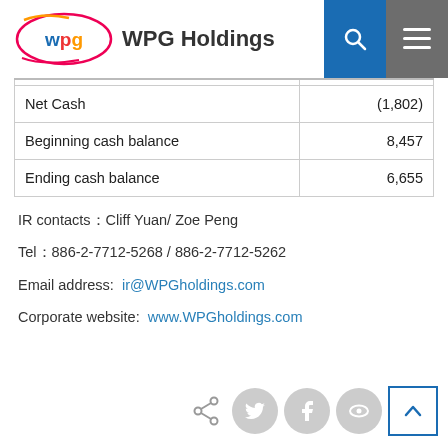WPG Holdings
|  |  |
| --- | --- |
| Net Cash | (1,802) |
| Beginning cash balance | 8,457 |
| Ending cash balance | 6,655 |
IR contacts：Cliff Yuan/ Zoe Peng
Tel：886-2-7712-5268 / 886-2-7712-5262
Email address:  ir@WPGholdings.com
Corporate website:  www.WPGholdings.com